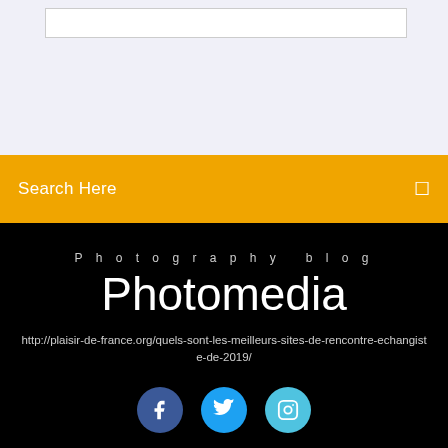[Figure (screenshot): Top light purple/grey section with a white search input box outline]
Search Here
Photography blog
Photomedia
http://plaisir-de-france.org/quels-sont-les-meilleurs-sites-de-rencontre-echangiste-de-2019/
[Figure (illustration): Three social media icon circles: Facebook (dark blue), Twitter (blue), Instagram (light blue) at the bottom]